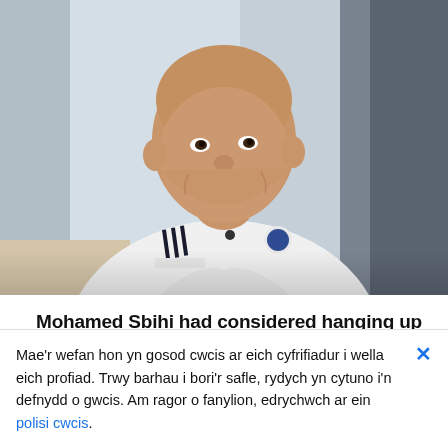[Figure (photo): A smiling bald man wearing a white adidas Team GB Olympic polo shirt, seated indoors with curtains and natural light in the background.]
Mohamed Sbihi had considered hanging up his oar after the postponement of last year's Tokyo Olympic Games, but the
Mae'r wefan hon yn gosod cwcis ar eich cyfrifiadur i wella eich profiad. Trwy barhau i bori'r safle, rydych yn cytuno i'n defnydd o gwcis. Am ragor o fanylion, edrychwch ar ein polisi cwcis.